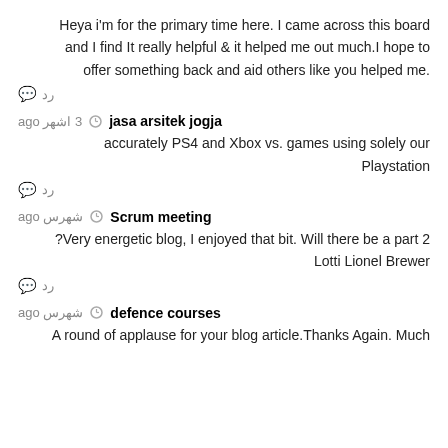Heya i'm for the primary time here. I came across this board and I find It really helpful & it helped me out much.I hope to offer something back and aid others like you helped me.
رد
jasa arsitek jogja   3 اشهر ago
accurately PS4 and Xbox vs. games using solely our Playstation
رد
Scrum meeting   شهرس ago
Very energetic blog, I enjoyed that bit. Will there be a part 2? Lotti Lionel Brewer
رد
defence courses   شهرس ago
A round of applause for your blog article.Thanks Again. Much